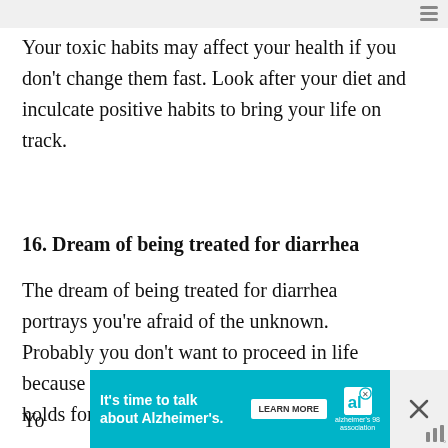Your toxic habits may affect your health if you don't change them fast. Look after your diet and inculcate positive habits to bring your life on track.
16. Dream of being treated for diarrhea
The dream of being treated for diarrhea portrays you're afraid of the unknown. Probably you don't want to proceed in life because you don't know what the future holds for you.
[Figure (infographic): Advertisement banner: 'It's time to talk about Alzheimer's.' with a LEARN MORE button and Alzheimer's Association logo]